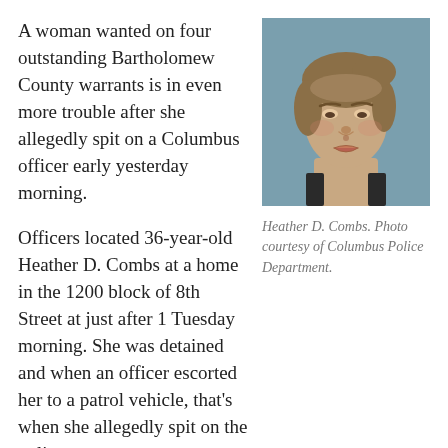A woman wanted on four outstanding Bartholomew County warrants is in even more trouble after she allegedly spit on a Columbus officer early yesterday morning.
[Figure (photo): Mugshot photo of Heather D. Combs, a woman with brown hair pulled back, wearing a black top, against a blue-gray background.]
Heather D. Combs. Photo courtesy of Columbus Police Department.
Officers located 36-year-old Heather D. Combs at a home in the 1200 block of 8th Street at just after 1 Tuesday morning. She was detained and when an officer escorted her to a patrol vehicle, that's when she allegedly spit on the police.
In addition to the four warrants, she is now facing a new charge of battery by bodily waste on a public safety officer